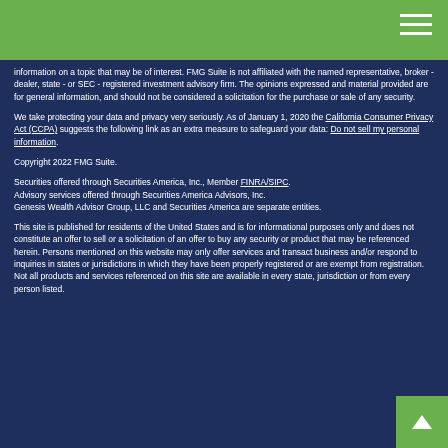information on a topic that may be of interest. FMG Suite is not affiliated with the named representative, broker - dealer, state - or SEC - registered investment advisory firm. The opinions expressed and material provided are for general information, and should not be considered a solicitation for the purchase or sale of any security.
We take protecting your data and privacy very seriously. As of January 1, 2020 the California Consumer Privacy Act (CCPA) suggests the following link as an extra measure to safeguard your data: Do not sell my personal information.
Copyright 2022 FMG Suite.
Securities offered through Securities America, Inc., Member FINRA/SIPC. Advisory services offered through Securities America Advisors, Inc. Genesis Wealth Advisor Group, LLC and Securities America are separate entities.
This site is published for residents of the United States and is for informational purposes only and does not constitute an offer to sell or a solicitation of an offer to buy any security or product that may be referenced herein. Persons mentioned on this website may only offer services and transact business and/or respond to inquiries in states or jurisdictions in which they have been properly registered or are exempt from registration. Not all products and services referenced on this site are available in every state, jurisdiction or from every person listed.